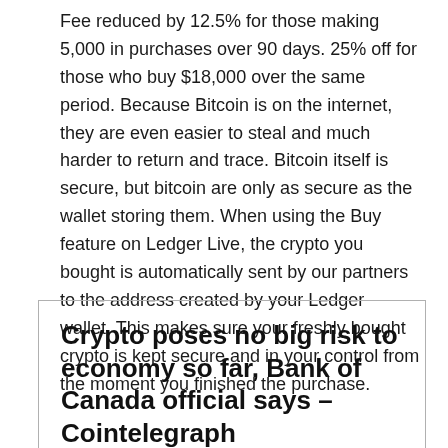Fee reduced by 12.5% for those making 5,000 in purchases over 90 days. 25% off for those who buy $18,000 over the same period. Because Bitcoin is on the internet, they are even easier to steal and much harder to return and trace. Bitcoin itself is secure, but bitcoin are only as secure as the wallet storing them. When using the Buy feature on Ledger Live, the crypto you bought is automatically sent by our partners to the address created by your Ledger wallet. This makes sure your freshly bought crypto is kept secure and in your control from the moment you finished the purchase.
Crypto poses no big risk to economy so far, Bank of Canada official says – Cointelegraph